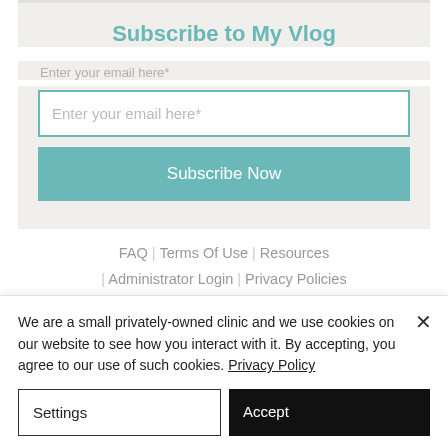Subscribe to My Vlog
Enter your email here*
Enter your email here*
Subscribe Now
FAQ | Terms Of Use | Resources
| Administrator Login | Privacy Policies
| Disclaimer
We are a small privately-owned clinic and we use cookies on our website to see how you interact with it. By accepting, you agree to our use of such cookies. Privacy Policy
Settings
Accept